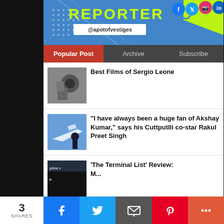REPORTER @apotofvestiges
Popular Post | Archive | Subscribe
Best Films of Sergio Leone
"I have always been a huge fan of Akshay Kumar," says his Cuttputlli co-star Rakul Preet Singh
'The Terminal List' Review:
3 SHARES